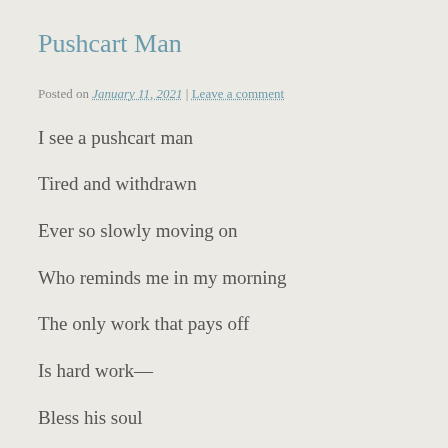Pushcart Man
Posted on January 11, 2021 | Leave a comment
I see a pushcart man
Tired and withdrawn
Ever so slowly moving on
Who reminds me in my morning
The only work that pays off
Is hard work—
Bless his soul